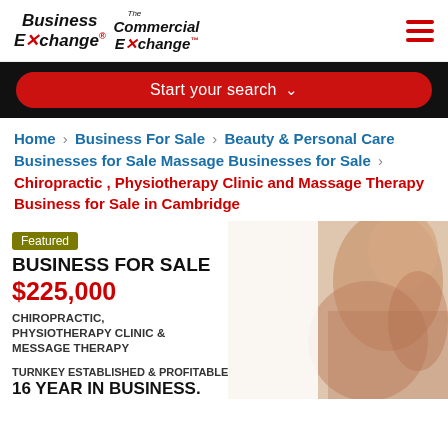Business Exchange | Commercial Exchange
Start your search
Home > Business For Sale > Beauty & Personal Care Businesses for Sale Massage Businesses for Sale > Chiropractic , Physiotherapy Clinic and Massage Therapy Business for Sale in Cambridge
[Figure (photo): Featured business listing card showing a chiropractic/physiotherapy clinic for sale at $225,000 in Cambridge, Ontario. Contains 'Featured' badge, text: BUSINESS FOR SALE, $225,000, CHIROPRACTIC, PHYSIOTHERAPY CLINIC & MESSAGE THERAPY, TURNKEY ESTABLISHED & PROFITABLE 16 YEAR IN BUSINESS. CAMBRIDGE, ONTARIO. Background shows a person receiving massage therapy treatment.]